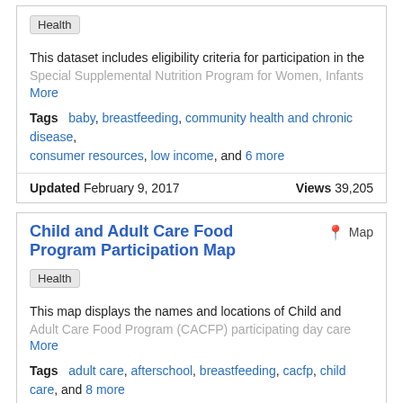Health
This dataset includes eligibility criteria for participation in the Special Supplemental Nutrition Program for Women, Infants More
Tags  baby, breastfeeding, community health and chronic disease, consumer resources, low income, and 6 more
Updated February 9, 2017   Views 39,205
Child and Adult Care Food Program Participation Map
Health
This map displays the names and locations of Child and Adult Care Food Program (CACFP) participating day care More
Tags  adult care, afterschool, breastfeeding, cacfp, child care, and 8 more
Updated July 6, 2022   Views 46,596